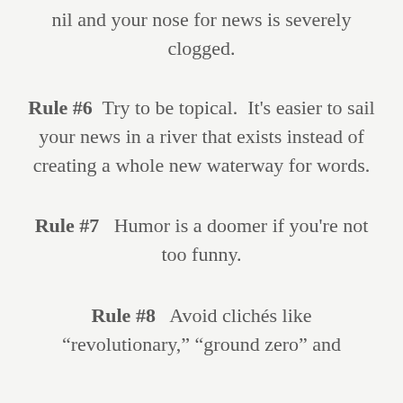nil and your nose for news is severely clogged.
Rule #6  Try to be topical.  It’s easier to sail your news in a river that exists instead of creating a whole new waterway for words.
Rule #7  Humor is a doomer if you’re not too funny.
Rule #8  Avoid clichés like “revolutionary,” “ground zero” and